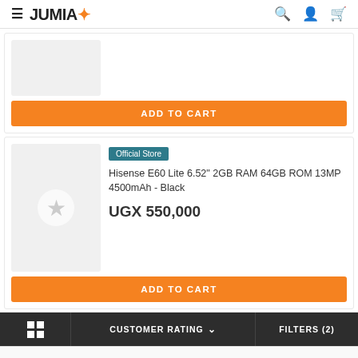JUMIA
[Figure (screenshot): Partial product card with gray image placeholder and orange ADD TO CART button]
[Figure (screenshot): Hisense E60 Lite product listing with Official Store badge, product image placeholder with star icon, product title, price UGX 550,000, and orange ADD TO CART button]
Official Store
Hisense E60 Lite 6.52" 2GB RAM 64GB ROM 13MP 4500mAh - Black
UGX 550,000
CUSTOMER RATING   FILTERS (2)
This website uses cookies. For further information on how we use cookies you can read our Privacy and Cookie notice